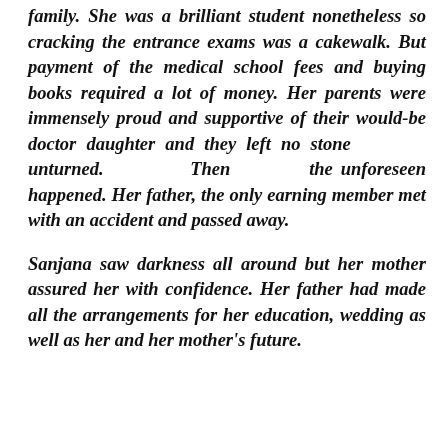family. She was a brilliant student nonetheless so cracking the entrance exams was a cakewalk. But payment of the medical school fees and buying books required a lot of money. Her parents were immensely proud and supportive of their would-be doctor daughter and they left no stone unturned. Then the unforeseen happened. Her father, the only earning member met with an accident and passed away.
Sanjana saw darkness all around but her mother assured her with confidence. Her father had made all the arrangements for her education, wedding as well as her and her mother's future.